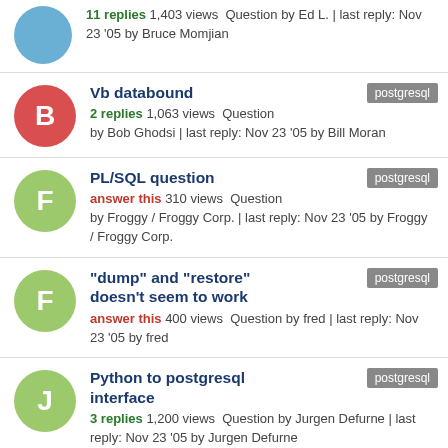11 replies 1,403 views Question by Ed L. | last reply: Nov 23 '05 by Bruce Momjian
Vb databound
2 replies 1,063 views Question by Bob Ghodsi | last reply: Nov 23 '05 by Bill Moran
tag: postgresql
PL/SQL question
answer this 310 views Question by Froggy / Froggy Corp. | last reply: Nov 23 '05 by Froggy / Froggy Corp.
tag: postgresql
"dump" and "restore" doesn't seem to work
answer this 400 views Question by fred | last reply: Nov 23 '05 by fred
tag: postgresql
Python to postgresql interface
3 replies 1,200 views Question by Jurgen Defurne | last reply: Nov 23 '05 by Jurgen Defurne
tag: postgresql